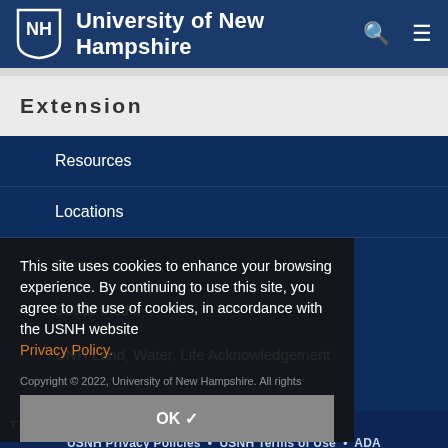University of New Hampshire
Extension
Resources
Locations
Events
Social Media
UNH Land, Water, Life Acknowledgement
This site uses cookies to enhance your browsing experience. By continuing to use this site, you agree to the use of cookies, in accordance with the USNH website Privacy Policy.
OK ✓
Copyright © 2022, University of New Hampshire. All rights reserved.
TTY Users: 7-1-1 or 800-735-2964 (Relay NH).
USNH Privacy Policies • USNH Terms of Use • ADA